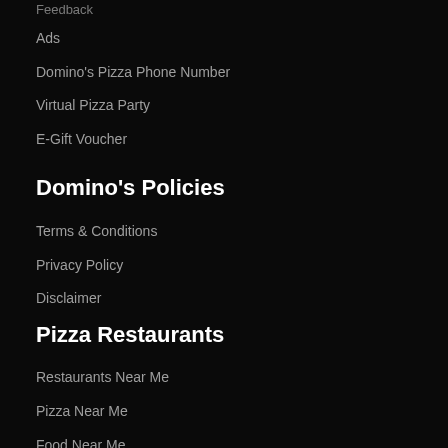Feedback
Ads
Domino's Pizza Phone Number
Virtual Pizza Party
E-Gift Voucher
Domino's Policies
Terms & Conditions
Privacy Policy
Disclaimer
Pizza Restaurants
Restaurants Near Me
Pizza Near Me
Food Near Me
Food Delivery
Italian Food
Order Food Online
Order Pizza In